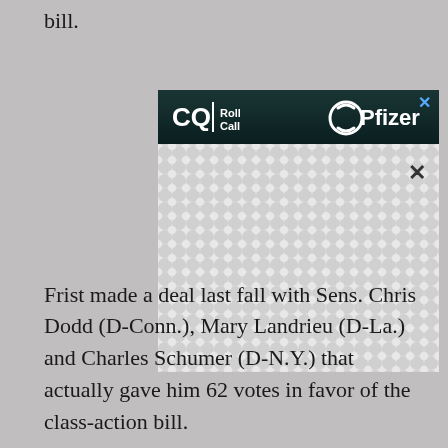bill.
[Figure (screenshot): CQ Roll Call advertisement banner featuring Pfizer logo on dark teal background, below which is a large white content area with a repeating bowtie/infinity pattern, and a close (X) button]
Frist made a deal last fall with Sens. Chris Dodd (D-Conn.), Mary Landrieu (D-La.) and Charles Schumer (D-N.Y.) that actually gave him 62 votes in favor of the class-action bill.